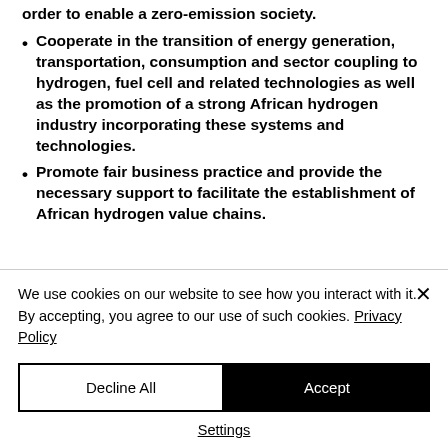order to enable a zero-emission society.
Cooperate in the transition of energy generation, transportation, consumption and sector coupling to hydrogen, fuel cell and related technologies as well as the promotion of a strong African hydrogen industry incorporating these systems and technologies.
Promote fair business practice and provide the necessary support to facilitate the establishment of African hydrogen value chains.
We use cookies on our website to see how you interact with it. By accepting, you agree to our use of such cookies. Privacy Policy
Decline All | Accept | Settings